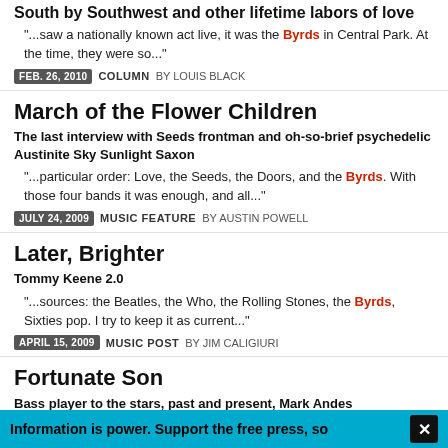South by Southwest and other lifetime labors of love
"...saw a nationally known act live, it was the Byrds in Central Park. At the time, they were so..."
FEB. 26, 2010  COLUMN BY LOUIS BLACK
March of the Flower Children
The last interview with Seeds frontman and oh-so-brief psychedelic Austinite Sky Sunlight Saxon
"...particular order: Love, the Seeds, the Doors, and the Byrds. With those four bands it was enough, and all..."
JULY 24, 2009  MUSIC FEATURE BY AUSTIN POWELL
Later, Brighter
Tommy Keene 2.0
"...sources: the Beatles, the Who, the Rolling Stones, the Byrds, Sixties pop. I try to keep it as current..."
APRIL 15, 2009  MUSIC POST BY JIM CALIGIURI
Fortunate Son
Bass player to the stars, past and present, Mark Andes
"...escapees, including Chris Hillman and Michael Clarke of the Byrds, and former Burrito Brother Rick Roberts. Andes joined
Information is power. Support the free press, so